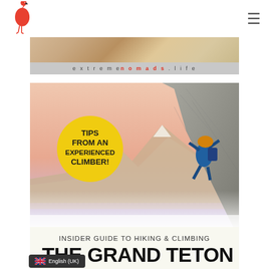extremenomads.life — website header with flamingo logo and hamburger menu
[Figure (photo): Website banner showing extremenomads.life with a muted warm landscape photo background and grey banner with site URL text]
[Figure (illustration): Book cover: Insider Guide to Hiking & Climbing The Grand Teton. Shows a climber scaling a steep rock face with mountain panorama at sunset. Yellow circle badge reads TIPS FROM AN EXPERIENCED CLIMBER!]
English (UK) language selector